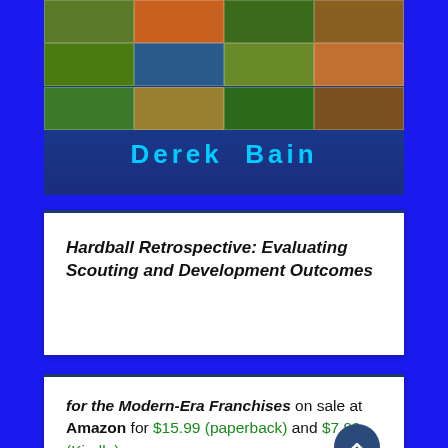[Figure (illustration): Book cover showing a collage of baseball game images at top, dark blue background, with author name 'Derek Bain' in cyan text]
Hardball Retrospective: Evaluating Scouting and Development Outcomes
for the Modern-Era Franchises on sale at Amazon for $15.99 (paperback) and $7.99 (Kindle)